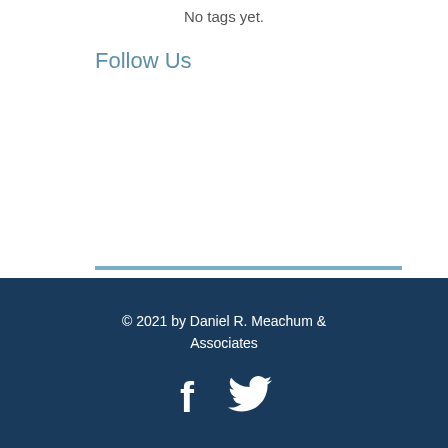No tags yet.
Follow Us
[Figure (illustration): Social media icons: Facebook (blue), Twitter (light blue), Google+ (red)]
© 2021 by Daniel R. Meachum & Associates